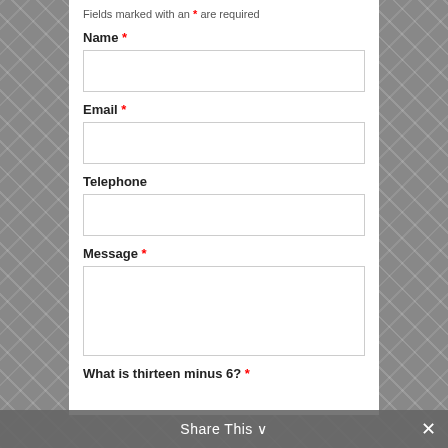Fields marked with an * are required
Name *
Email *
Telephone
Message *
What is thirteen minus 6? *
Share This ∨  ✕